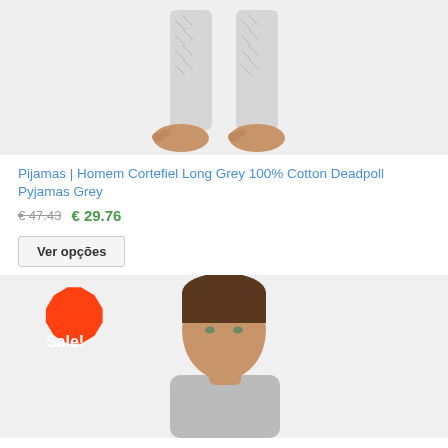[Figure (photo): Product photo showing lower legs and bare feet of a person wearing grey patterned cotton pyjama pants on a white background]
Pijamas | Homem Cortefiel Long Grey 100% Cotton Deadpoll Pyjamas Grey
€ 47.43  €  29.76
Ver opções
[Figure (photo): Product photo of a young man with dark brown hair on white background, with a red Sale! badge in the top-left corner]